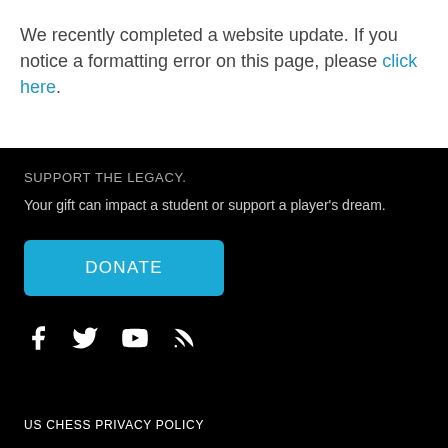We recently completed a website update. If you notice a formatting error on this page, please click here.
SUPPORT THE LEGACY.
Your gift can impact a student or support a player's dream.
DONATE
[Figure (illustration): Social media icons: Facebook, Twitter, YouTube, RSS feed]
US CHESS PRIVACY POLICY